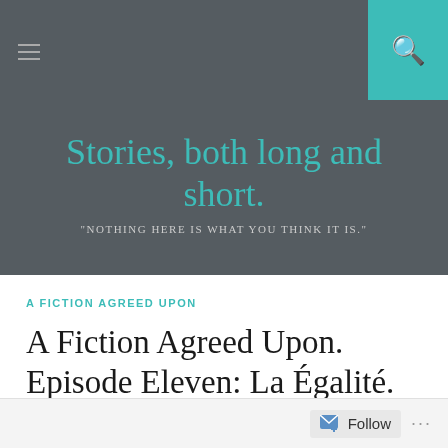Stories, both long and short. "NOTHING HERE IS WHAT YOU THINK IT IS."
A FICTION AGREED UPON
A Fiction Agreed Upon. Episode Eleven: La Égalité. Part One.
OCTOBER 12, 2017
FRENCHCOOKIE47